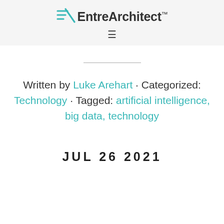EntreArchitect™
Written by Luke Arehart · Categorized: Technology · Tagged: artificial intelligence, big data, technology
JUL 26 2021